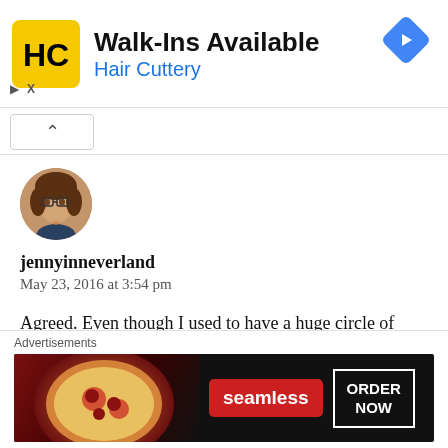[Figure (screenshot): Hair Cuttery advertisement banner with yellow HC logo, text 'Walk-Ins Available' and 'Hair Cuttery', and a blue navigation diamond icon]
jennyinneverland
May 23, 2016 at 3:54 pm
Agreed. Even though I used to have a huge circle of friends, I always liked my alone time too.
Loading...
Advertisements
[Figure (screenshot): Seamless food delivery advertisement showing pizza image, Seamless red logo, and ORDER NOW button]